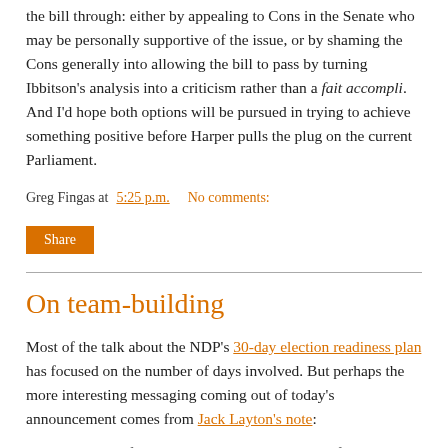the bill through: either by appealing to Cons in the Senate who may be personally supportive of the issue, or by shaming the Cons generally into allowing the bill to pass by turning Ibbitson's analysis into a criticism rather than a fait accompli. And I'd hope both options will be pursued in trying to achieve something positive before Harper pulls the plug on the current Parliament.
Greg Fingas at 5:25 p.m.   No comments:
Share
On team-building
Most of the talk about the NDP's 30-day election readiness plan has focused on the number of days involved. But perhaps the more interesting messaging coming out of today's announcement comes from Jack Layton's note:
My goals for that election are simple. To defeat Stephen Harper. To elect a Prime Minister that